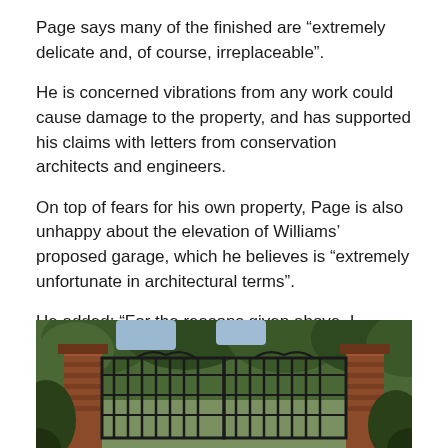Page says many of the finished are “extremely delicate and, of course, irreplaceable”.
He is concerned vibrations from any work could cause damage to the property, and has supported his claims with letters from conservation architects and engineers.
On top of fears for his own property, Page is also unhappy about the elevation of Williams’ proposed garage, which he believes is “extremely unfortunate in architectural terms”.
He added: “For the reasons given above, I strongly oppose the proposals and urge the council to refuse the application for the works to Woodland House.”
[Figure (photo): Photograph of ornate iron gates with brick pillars, surrounded by trees and foliage]